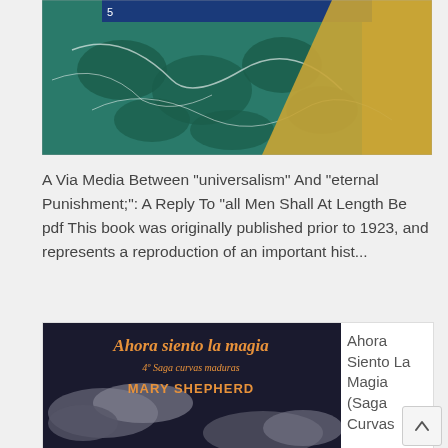[Figure (illustration): Book cover image with teal/green marbled pattern, blue and gold tones — top portion visible, cropped]
A Via Media Between "universalism" And "eternal Punishment;": A Reply To "all Men Shall At Length Be pdf This book was originally published prior to 1923, and represents a reproduction of an important hist...
[Figure (illustration): Book cover for 'Ahora siento la magia' by Mary Shepherd — dark sky with clouds and crescent moon, orange/gold title text]
Ahora Siento La Magia (Saga Curvas